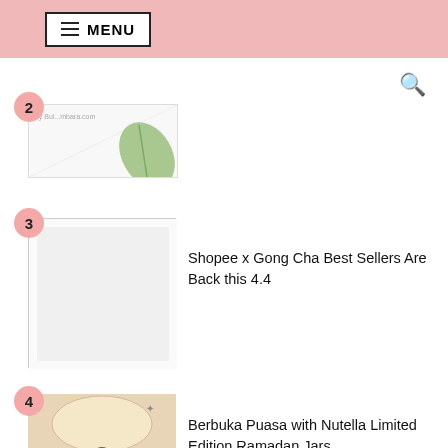≡ MENU
[Figure (screenshot): Partial article image with plant/leaf visible]
[Figure (screenshot): White placeholder image for Shopee x Gong Cha article]
Shopee x Gong Cha Best Sellers Are Back this 4.4
[Figure (photo): Family seated at a table with Ramadan food for Nutella article]
Berbuka Puasa with Nutella Limited Edition Ramadan Jars
TRENDING ARTICLES
[Figure (screenshot): Partial blue image for trending article item 1]